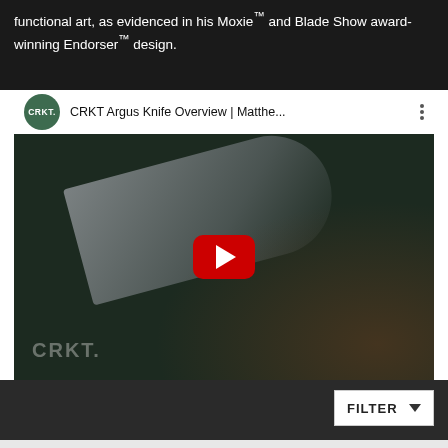functional art, as evidenced in his Moxie™ and Blade Show award-winning Endorser™ design.
[Figure (screenshot): YouTube video embed showing CRKT Argus Knife Overview by Matthew... with CRKT logo circle, video title bar, dark thumbnail of a hand holding a knife, red play button, and CRKT watermark in lower left]
[Figure (screenshot): Dark background section with a white FILTER dropdown button in the lower right]